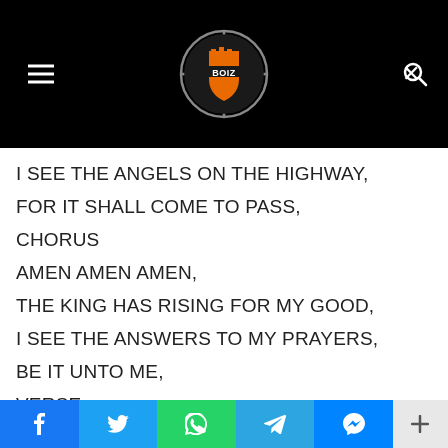Kingdom Boiz - Header navigation with logo
I SEE THE ANGELS ON THE HIGHWAY,
FOR IT SHALL COME TO PASS,
CHORUS
AMEN AMEN AMEN,
THE KING HAS RISING FOR MY GOOD,
I SEE THE ANSWERS TO MY PRAYERS,
BE IT UNTO ME,
VERSE
f  Twitter  WhatsApp  Telegram  Messenger  +